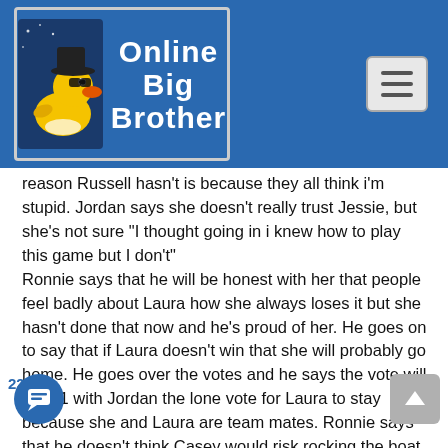Online Big Brother
reason Russell hasn't is because they all think i'm stupid. Jordan says she doesn't really trust Jessie, but she's not sure "I thought going in i knew how to play this game but I don't"
Ronnie says that he will be honest with her that people feel badly about Laura how she always loses it but she hasn't done that now and he's proud of her. He goes on to say that if Laura doesn't win that she will probably go home. He goes over the votes and he says the vote will be 8-1 with Jordan the lone vote for Laura to stay because she and Laura are team mates. Ronnie says that he doesn't think Casey would risk rocking the boat to save Laura if he won the POV. Ronnie still saying there is a back door plan and it's not to get rid of laura or Jeff, he really wanted to back door Russel. Jordan